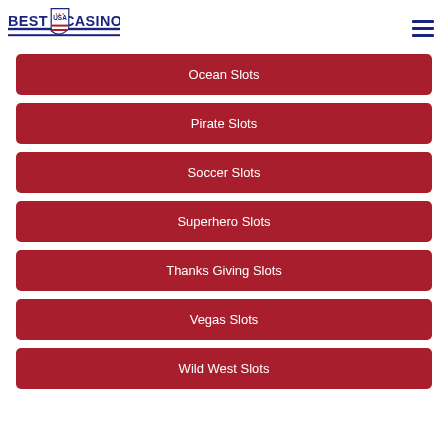[Figure (logo): Best USA Casino Sites logo with shield/badge icon and blue horizontal lines]
Ocean Slots
Pirate Slots
Soccer Slots
Superhero Slots
Thanks Giving Slots
Vegas Slots
Wild West Slots